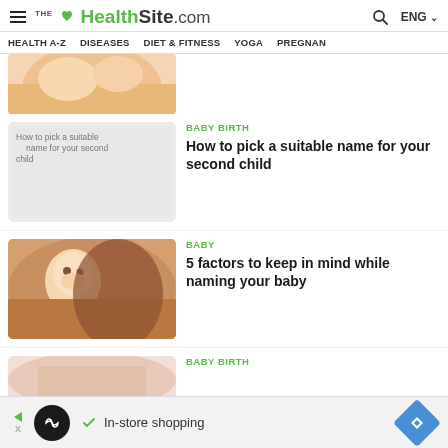THE HealthSite.com — ENG
HEALTH A-Z   DISEASES   DIET & FITNESS   YOGA   PREGNAN
[Figure (photo): Close-up of baby hands]
[Figure (photo): Placeholder image for article: How to pick a suitable name for your second child]
BABY BIRTH
How to pick a suitable name for your second child
[Figure (photo): Baby being held by mother, close-up of baby face]
BABY
5 factors to keep in mind while naming your baby
[Figure (photo): Partial image at bottom of page]
BABY BIRTH
In-store shopping (advertisement)